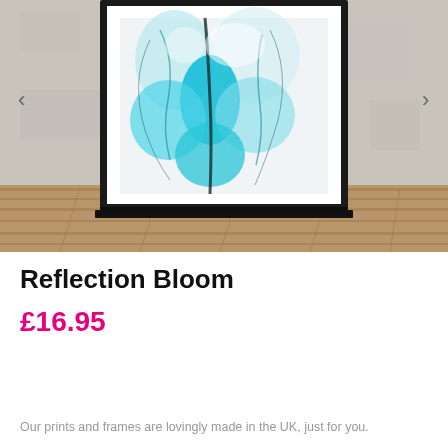[Figure (photo): A framed abstract art print titled 'Reflection Bloom' showing flowing teal/blue ink forms against a white background, displayed leaning against a white concrete wall on a wooden floor. Navigation arrows are visible on left and right sides.]
Reflection Bloom
£16.95
Our prints and frames are lovingly made in the UK, just for you.